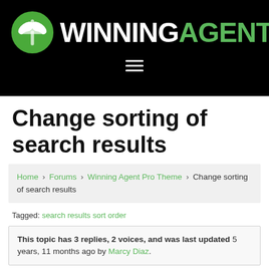[Figure (logo): Winning Agent logo with green circular icon and text WINNING in white, AGENT in green on black background]
Change sorting of search results
Home › Forums › Winning Agent Pro Theme › Change sorting of search results
Tagged: search results sort order
This topic has 3 replies, 2 voices, and was last updated 5 years, 11 months ago by Marcy Diaz.